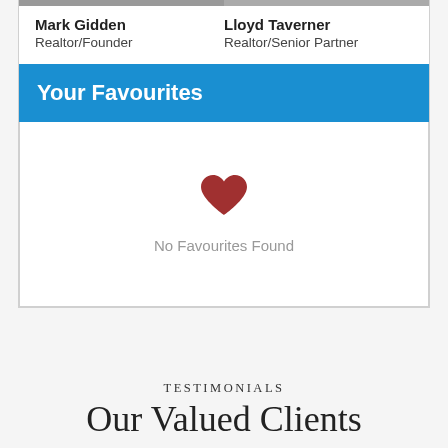Mark Gidden
Realtor/Founder
Lloyd Taverner
Realtor/Senior Partner
Your Favourites
[Figure (illustration): A dark red heart icon centered in the favourites section]
No Favourites Found
TESTIMONIALS
Our Valued Clients